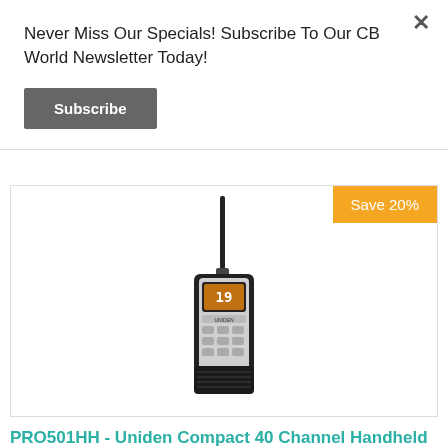Never Miss Our Specials! Subscribe To Our CB World Newsletter Today!
Subscribe
[Figure (photo): Uniden PRO501HH handheld CB radio with black antenna, silver/black body, orange display, and keypad buttons]
Save 20%
PRO501HH - Uniden Compact 40 Channel Handheld